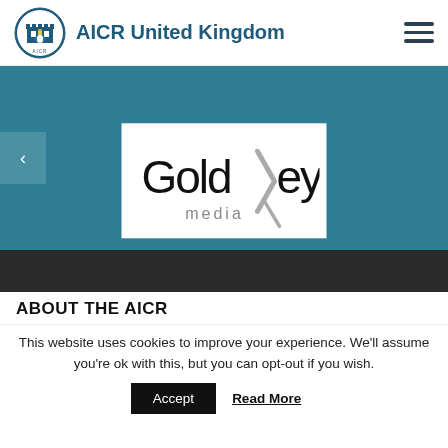AICR United Kingdom
[Figure (logo): AICR United Kingdom logo - castle emblem with circular text]
[Figure (logo): GoldKey media sponsor logo on white card within teal banner]
ABOUT THE AICR
This website uses cookies to improve your experience. We'll assume you're ok with this, but you can opt-out if you wish.
Accept  Read More